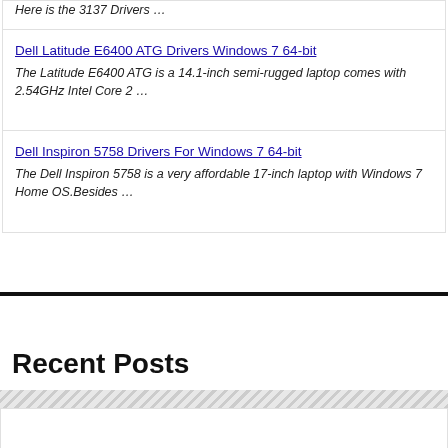Here is the 3137 Drivers …
Dell Latitude E6400 ATG Drivers Windows 7 64-bit
The Latitude E6400 ATG is a 14.1-inch semi-rugged laptop comes with 2.54GHz Intel Core 2 …
Dell Inspiron 5758 Drivers For Windows 7 64-bit
The Dell Inspiron 5758 is a very affordable 17-inch laptop with Windows 7 Home OS.Besides …
Recent Posts